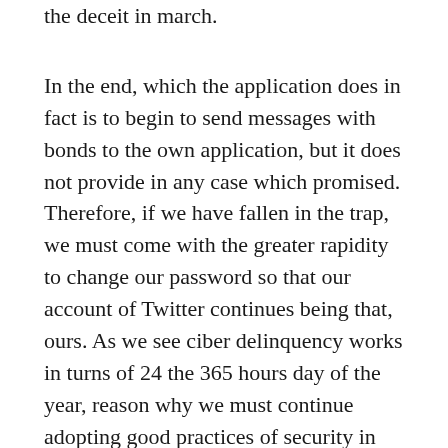the deceit in march.
In the end, which the application does in fact is to begin to send messages with bonds to the own application, but it does not provide in any case which promised. Therefore, if we have fallen in the trap, we must come with the greater rapidity to change our password so that our account of Twitter continues being that, ours. As we see ciber delinquency works in turns of 24 the 365 hours day of the year, reason why we must continue adopting good practices of security in our daily use of the Network. See more detailed opinions by reading what Wayne Holman offers on the topic.. It is the unique form in which we could